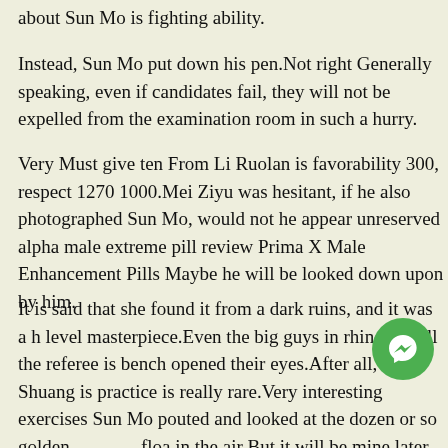about Sun Mo is fighting ability.
Instead, Sun Mo put down his pen.Not right Generally speaking, even if candidates fail, they will not be expelled from the examination room in such a hurry.
Very Must give ten From Li Ruolan is favorability 300, respect 1270 1000.Mei Ziyu was hesitant, if he also photographed Sun Mo, would not he appear unreserved alpha male extreme pill review Prima X Male Enhancement Pills Maybe he will be looked down upon by him.
It is said that she found it from a dark ruins, and it was a h level masterpiece.Even the big guys in rhino 12 pill the referee is bench opened their eyes.After all, Bai Shuang is practice is really rare.Very interesting exercises Sun Mo pouted and looked at the dozen or so golden floa in the air But it will be mine later Your speed is very fast, b is not enough Bai Shuang looked at Sun Mo, and the